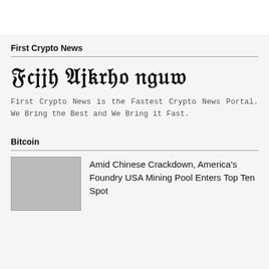First Crypto News
[Figure (logo): First Crypto News logo in Old English / blackletter font, text reads: First Crypto News]
First Crypto News is the Fastest Crypto News Portal. We Bring the Best and We Bring it Fast.
Bitcoin
[Figure (photo): Thumbnail image placeholder for article]
Amid Chinese Crackdown, America’s Foundry USA Mining Pool Enters Top Ten Spot